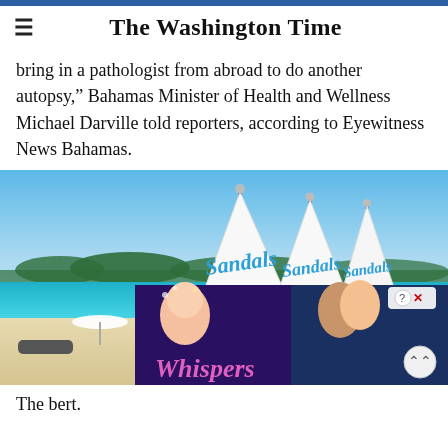The Washington Time
bring in a pathologist from abroad to do another autopsy," Bahamas Minister of Health and Wellness Michael Darville told reporters, according to Eyewitness News Bahamas.
[Figure (photo): Beach scene with three Sandals resort catamarans/sailboats on a white sand beach with turquoise water and blue sky. An advertisement overlay for 'Whispers' app/game partially covers the lower portion.]
The be[ach...] rt.